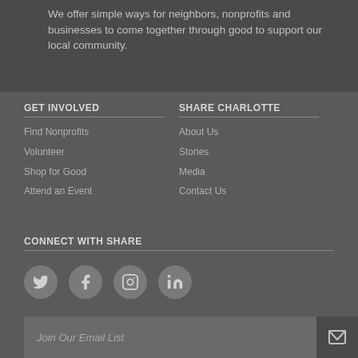We offer simple ways for neighbors, nonprofits and businesses to come together through good to support our local community.
GET INVOLVED
Find Nonprofits
Volunteer
Shop for Good
Attend an Event
SHARE CHARLOTTE
About Us
Stories
Media
Contact Us
CONNECT WITH SHARE
[Figure (other): Social media icons: Twitter, Facebook, Instagram, LinkedIn]
Join Our Email List